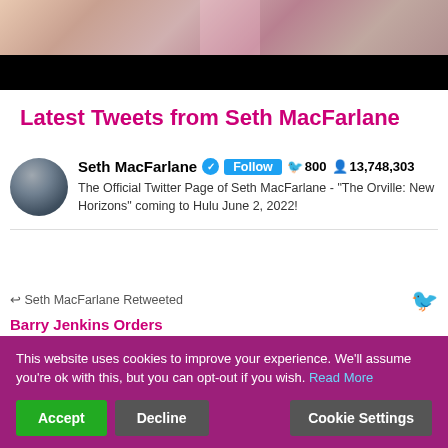[Figure (photo): Top banner image showing a partial photograph with pink/beige tones at top and black area at bottom, appears to be a cropped promotional image]
Latest Tweets from Seth MacFarlane
Seth MacFarlane [verified] [Follow] 800 13,748,303
The Official Twitter Page of Seth MacFarlane - "The Orville: New Horizons" coming to Hulu June 2, 2022!
Seth MacFarlane Retweeted
Barry Jenkins Orders...
This website uses cookies to improve your experience. We'll assume you're ok with this, but you can opt-out if you wish. Read More
Accept   Decline   Cookie Settings